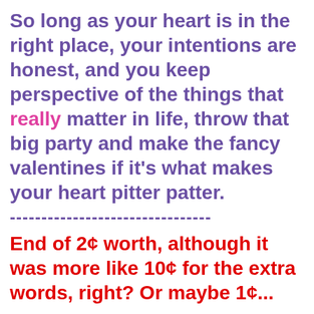So long as your heart is in the right place, your intentions are honest, and you keep perspective of the things that really matter in life, throw that big party and make the fancy valentines if it's what makes your heart pitter patter.
--------------------------------
End of 2¢ worth, although it was more like 10¢ for the extra words, right?  Or maybe 1¢...
--------------------------------
A couple of weekends ago we